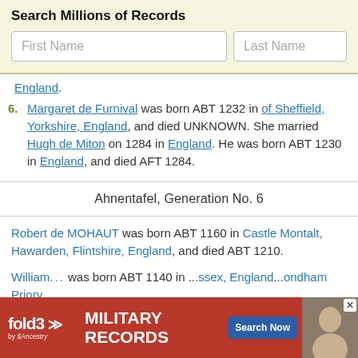Search Millions of Records
First Name | Last Name (search inputs)
England.
6. Margaret de Furnival was born ABT 1232 in of Sheffield, Yorkshire, England, and died UNKNOWN. She married Hugh de Miton on 1284 in England. He was born ABT 1230 in England, and died AFT 1284.
Ahnentafel, Generation No. 6
Robert de MOHAUT was born ABT 1160 in Castle Montalt, Hawarden, Flintshire, England, and died ABT 1210.
William... was born ABT 1140 in ...ssex, England... ondham Priory
[Figure (infographic): Fold3 Military Records advertisement banner at bottom of page]